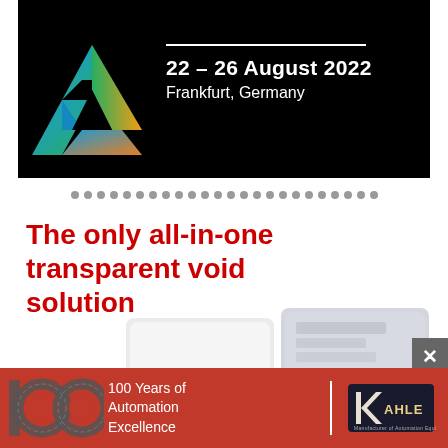[Figure (illustration): Top banner with black background, colorful triangle/Penrose triangle logo on the left, white text '22 – 26 August 2022' and 'Frankfurt, Germany' on the right with a white horizontal rule above the date.]
[Figure (infographic): A row of grey dots serving as a decorative separator between the banner and the main content.]
The only all-in-one transparent void solution
[Figure (photo): Two Securikett security cards/labels shown — one white card and one silvery/transparent card, both with the Securikett logo.]
[Figure (logo): Bottom red banner showing a metallic '100' made of gears/mechanical parts, the text '100 Years of Automation Excellence', a white dividing line, and the Kahle logo with text 'Manufacturer of Automation Equipment'.]